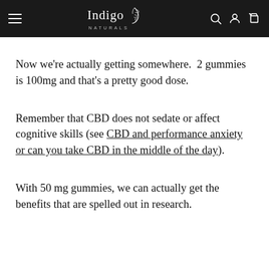Indigo Naturals — navigation bar with hamburger menu, logo, search, account, and cart icons
Now we're actually getting somewhere.  2 gummies is 100mg and that's a pretty good dose.
Remember that CBD does not sedate or affect cognitive skills (see CBD and performance anxiety or can you take CBD in the middle of the day).
With 50 mg gummies, we can actually get the benefits that are spelled out in research.